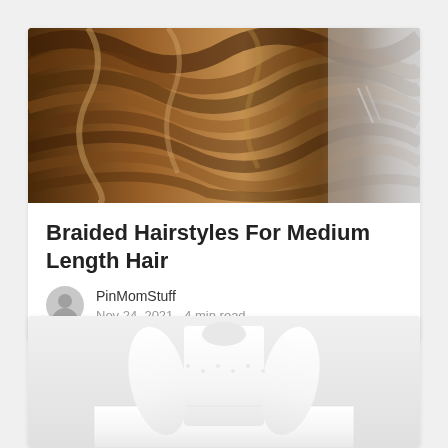[Figure (photo): Close-up photo of wavy medium-length brown hair with highlights, person facing away]
Braided Hairstyles For Medium Length Hair
PinMomStuff
Nov 24, 2021 · 4 min read
[Figure (photo): Photo of a person wearing a white lace dress, cropped to show the torso and skirt, light background]